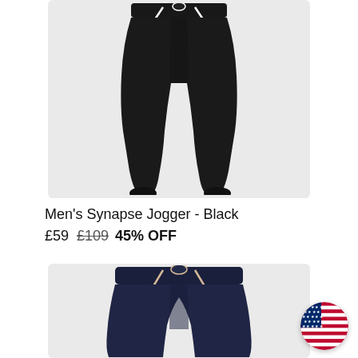[Figure (photo): Black men's jogger sweatpants with white drawstring and red logo, shown from waist down on white/light grey background]
Men's Synapse Jogger - Black
£59  £109  45% OFF
[Figure (photo): Navy/dark blue women's jogger sweatpants with cream/tan drawstring and light blue logo, shown from waist down on white/light grey background]
[Figure (illustration): US / American flag circular badge in bottom right corner]